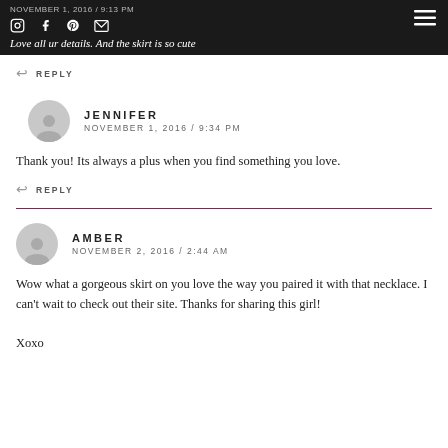NOVEMBER 1, 2016 / 9:13 PM — Love all ur details. And the skirt is so cute
REPLY
[Figure (illustration): Gray circular avatar with person silhouette — Jennifer]
JENNIFER
NOVEMBER 1, 2016 / 9:34 PM
Thank you! Its always a plus when you find something you love.
REPLY
[Figure (illustration): Gray circular avatar with person silhouette — Amber]
AMBER
NOVEMBER 2, 2016 / 2:44 AM
Wow what a gorgeous skirt on you love the way you paired it with that necklace. I can't wait to check out their site. Thanks for sharing this girl!

Xoxo